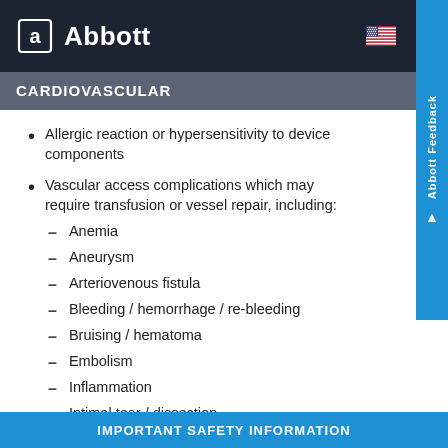Abbott
CARDIOVASCULAR
Allergic reaction or hypersensitivity to device components
Vascular access complications which may require transfusion or vessel repair, including: Anemia, Aneurysm, Arteriovenous fistula, Bleeding / hemorrhage / re-bleeding, Bruising / hematoma, Embolism, Inflammation, Intimal tear / dissection, Perforation
IMPORTANT SAFETY INFORMATION